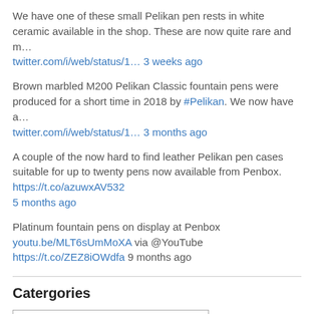We have one of these small Pelikan pen rests in white ceramic available in the shop. These are now quite rare and m… twitter.com/i/web/status/1… 3 weeks ago
Brown marbled M200 Pelikan Classic fountain pens were produced for a short time in 2018 by #Pelikan. We now have a… twitter.com/i/web/status/1… 3 months ago
A couple of the now hard to find leather Pelikan pen cases suitable for up to twenty pens now available from Penbox. https://t.co/azuwxAV532 5 months ago
Platinum fountain pens on display at Penbox youtu.be/MLT6sUmMoXA via @YouTube https://t.co/ZEZ8iOWdfa 9 months ago
Catergories
Pen Refills & Converters  (15)